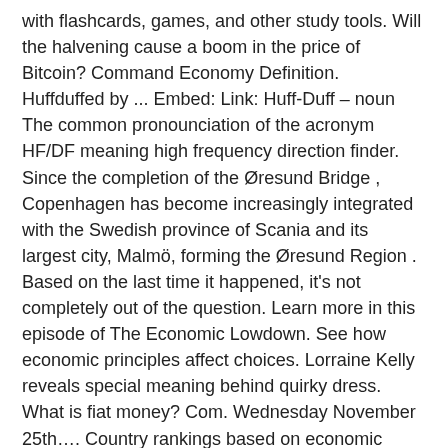with flashcards, games, and other study tools. Will the halvening cause a boom in the price of Bitcoin? Command Economy Definition. Huffduffed by ... Embed: Link: Huff-Duff – noun The common pronounciation of the acronym HF/DF meaning high frequency direction finder. Since the completion of the Øresund Bridge , Copenhagen has become increasingly integrated with the Swedish province of Scania and its largest city, Malmö, forming the Øresund Region . Based on the last time it happened, it's not completely out of the question. Learn more in this episode of The Economic Lowdown. See how economic principles affect choices. Lorraine Kelly reveals special meaning behind quirky dress. What is fiat money? Com. Wednesday November 25th…. Country rankings based on economic freedom. Half of new one-person businesses and 30–40% of other small businesses fail within their first three years, and even existing small businesses face high probabilities of going under. That I wanted more storytelling; a bit of a song and dance; someone to put on a show. This article is shared in partnership with our friends at Te Taumata Toi-a-Iwi.